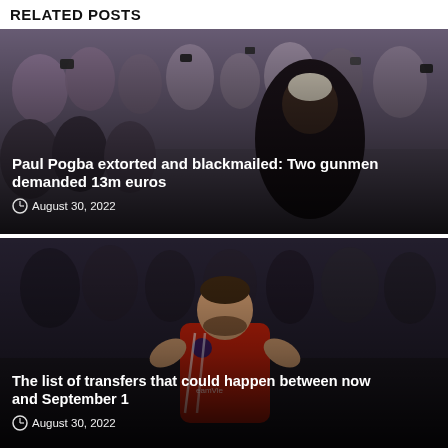RELATED POSTS
[Figure (photo): Paul Pogba surrounded by crowd of fans and photographers, overlay text: 'Paul Pogba extorted and blackmailed: Two gunmen demanded 13m euros', date: August 30, 2022]
[Figure (photo): Manchester United player in red shirt applauding crowd, overlay text: 'The list of transfers that could happen between now and September 1', date: August 30, 2022]
[Figure (photo): Partial view of two sports images side by side, third related post card partially visible at bottom of page]